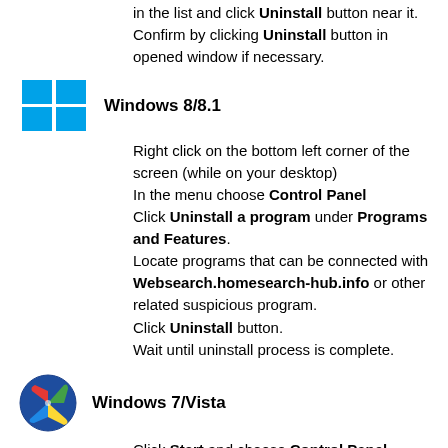in the list and click Uninstall button near it. Confirm by clicking Uninstall button in opened window if necessary.
Windows 8/8.1
Right click on the bottom left corner of the screen (while on your desktop)
In the menu choose Control Panel
Click Uninstall a program under Programs and Features.
Locate programs that can be connected with Websearch.homesearch-hub.info or other related suspicious program.
Click Uninstall button.
Wait until uninstall process is complete.
Windows 7/Vista
Click Start and choose Control Panel.
Choose Programs and Features and Uninstall a program.
In the list of installed programs find entries